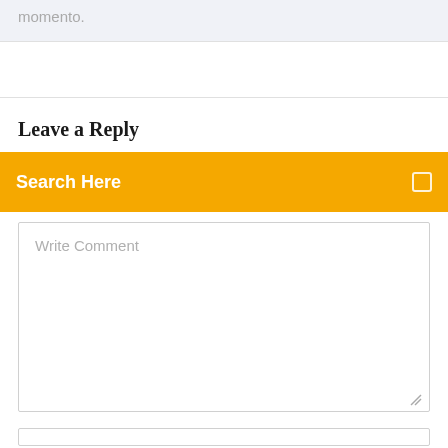momento.
Leave a Reply
Search Here
Write Comment